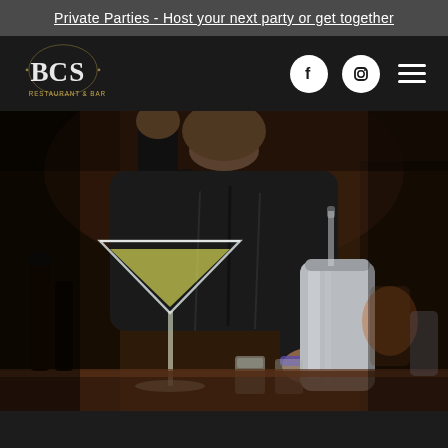Private Parties - Host your next party or get together
[Figure (logo): BCS Restaurant & Bar logo with stylized letters and golden laurel design]
[Figure (screenshot): Navigation bar with Facebook icon, Instagram icon, and hamburger menu on dark background]
[Figure (photo): Bartender in black shirt pouring cocktail into a metal shaker, with a yellow martini glass and other bar implements visible on the counter]